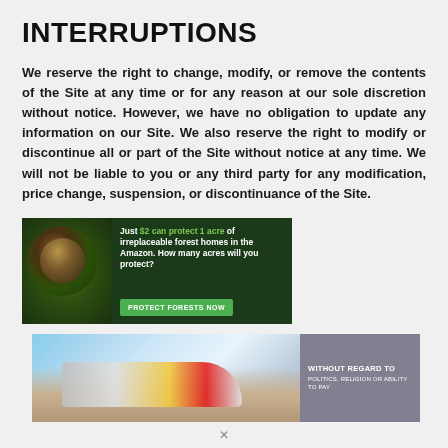INTERRUPTIONS
We reserve the right to change, modify, or remove the contents of the Site at any time or for any reason at our sole discretion without notice. However, we have no obligation to update any information on our Site. We also reserve the right to modify or discontinue all or part of the Site without notice at any time. We will not be liable to you or any third party for any modification, price change, suspension, or discontinuance of the Site.
[Figure (photo): Advertisement banner: forest protection ad with monkey image and text 'Just $2 can protect 1 acre of irreplaceable forest homes in the Amazon. How many acres will you protect?' with green 'PROTECT FORESTS NOW' button]
[Figure (photo): Advertisement banner: airline cargo image with text 'WITHOUT REGARD TO POLITICS, RELIGION OR ABILITY TO PAY']